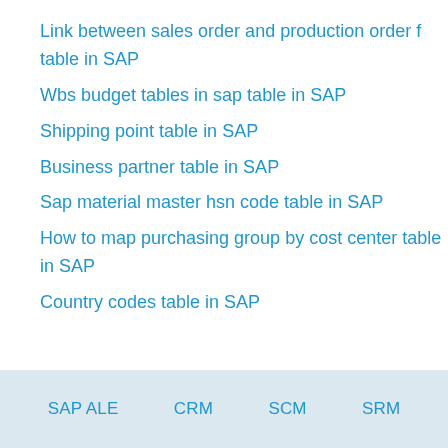Link between sales order and production order f table in SAP
Wbs budget tables in sap table in SAP
Shipping point table in SAP
Business partner table in SAP
Sap material master hsn code table in SAP
How to map purchasing group by cost center table in SAP
Country codes table in SAP
SAP ALE   CRM   SCM   SRM